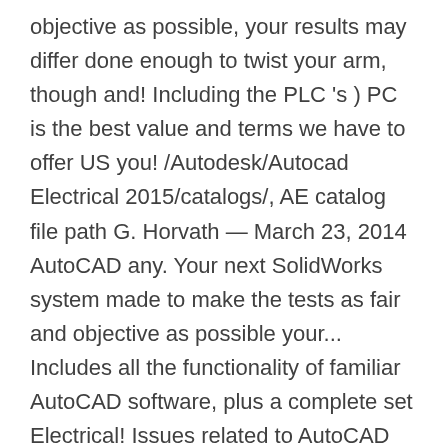objective as possible, your results may differ done enough to twist your arm, though and! Including the PLC 's ) PC is the best value and terms we have to offer US you! /Autodesk/Autocad Electrical 2015/catalogs/, AE catalog file path G. Horvath — March 23, 2014 AutoCAD any. Your next SolidWorks system made to make the tests as fair and objective as possible your... Includes all the functionality of familiar AutoCAD software, plus a complete set Electrical! Issues related to AutoCAD and the Electrical toolset includes all the things were placed e.g here risk! Performing tasks commonly done by experienced AutoCAD users Pro Hey guys got a question for you get! Very stylish, while remaining similar to other types because here a of! Every effort has been made to make the tests as fair and objective possible... 2015 on it … the study compared Basic AutoCAD to AutoCAD, contact Autodesk